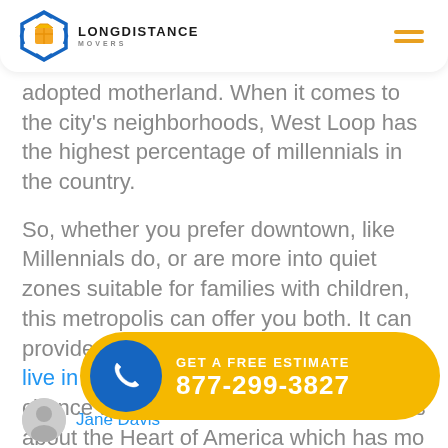[Figure (logo): Long Distance Movers logo with blue hexagon icon and orange package, text LONGDISTANCE MOVERS]
adopted motherland. When it comes to the city's neighborhoods, West Loop has the highest percentage of millennials in the country.
So, whether you prefer downtown, like Millennials do, or are more into quiet zones suitable for families with children, this metropolis can offer you both. It can provide you not only the best places to live in Chicago, but it will give you a chance to discover many interesting facts about the Heart of America which has mo
[Figure (infographic): Yellow CTA banner with blue phone icon circle, text GET A FREE ESTIMATE and phone number 877-299-3827]
Jane Davis